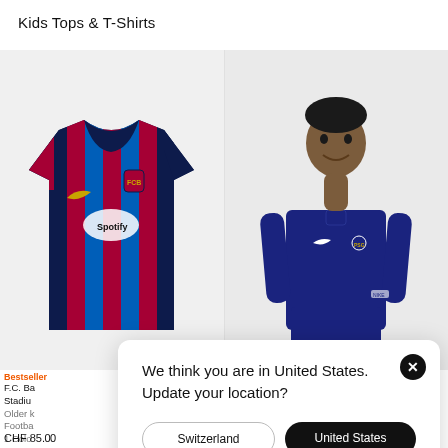Kids Tops & T-Shirts
[Figure (photo): FC Barcelona home stadium jersey with Spotify sponsor logo, navy/blue/red stripes]
[Figure (photo): Young boy wearing navy blue PSG Nike drill top]
Bestseller
F.C. Ba...
Stadiu...
Older k...
Footba...
1 Colo...
CHF 85.00
CHF 55.00
We think you are in United States. Update your location?
Switzerland
United States